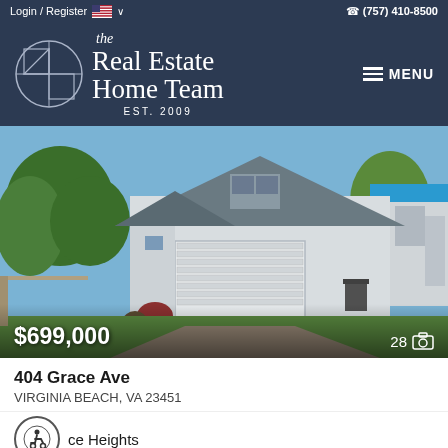Login / Register  (757) 410-8500
[Figure (logo): The Real Estate Home Team logo with circle geometric icon, text reading 'the Real Estate Home Team EST. 2009' and MENU button]
[Figure (photo): Exterior photo of a two-story white house with gray shingle roof, large two-car garage, concrete driveway, green lawn, and trees]
$699,000
28
404 Grace Ave
VIRGINIA BEACH, VA 23451
ce Heights